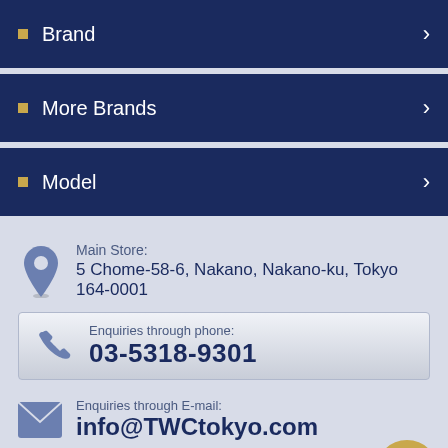Brand
More Brands
Model
Main Store:
5 Chome-58-6, Nakano, Nakano-ku, Tokyo 164-0001
Enquiries through phone:
03-5318-9301
Enquiries through E-mail:
info@TWCtokyo.com